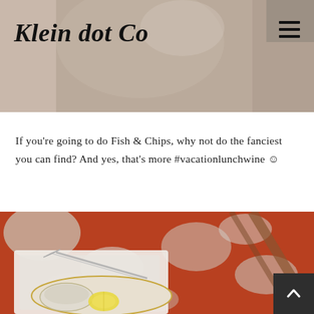Klein dot Co
If you're going to do Fish & Chips, why not do the fanciest you can find? And yes, that's more #vacationlunchwine ☺
[Figure (photo): Overhead view of a fancy restaurant table with a fork, white plate with a small bowl containing what appears to be a garnish, a lemon wedge, set on a red and white marbled surface.]